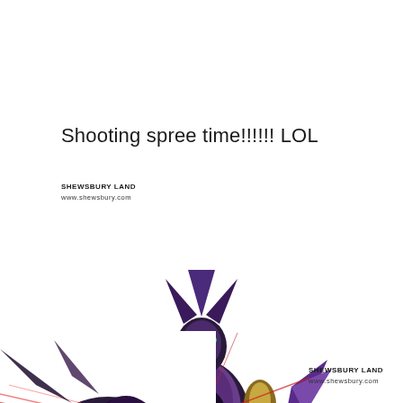Shooting spree time!!!!!! LOL
SHEWSBURY LAND
www.shewsbury.com
[Figure (photo): Purple and black robot/mecha action figure with green eyes, wing-like appendages, flower-shaped accessories, and a bright white energy blast/shooting effect emanating from its chest area. Shot against a white background.]
[Figure (photo): Partial view of a dark dragon/mecha action figure with red energy streaks, green eye visible, shot from a low angle against a white background.]
SHEWSBURY LAND
www.shewsbury.com